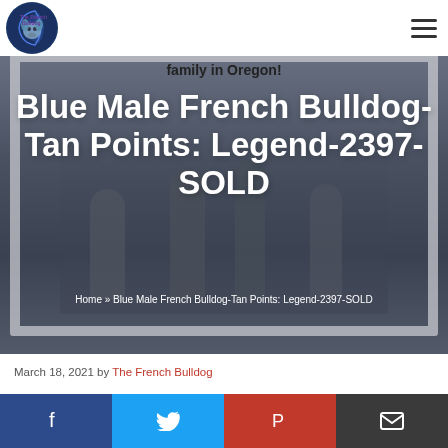The French Bulldog
[Figure (photo): Hero image showing a family photo inside a white/grey distressed picture frame on a dark overlay background. Text overlay reads 'family in Oregon!' at top, followed by the page title and breadcrumb navigation.]
Blue Male French Bulldog-Tan Points: Legend-2397-SOLD
Home » Blue Male French Bulldog-Tan Points: Legend-2397-SOLD
March 18, 2021 by The French Bulldog